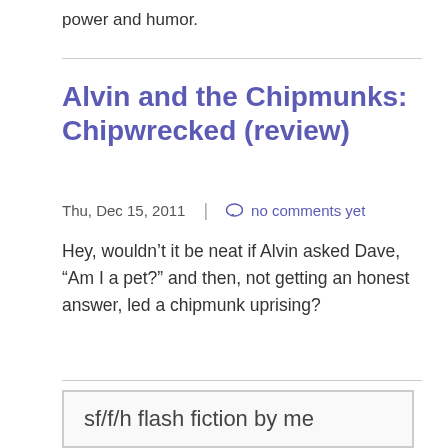power and humor.
Alvin and the Chipmunks: Chipwrecked (review)
Thu, Dec 15, 2011  |  no comments yet
Hey, wouldn't it be neat if Alvin asked Dave, “Am I a pet?” and then, not getting an honest answer, led a chipmunk uprising?
sf/f/h flash fiction by me